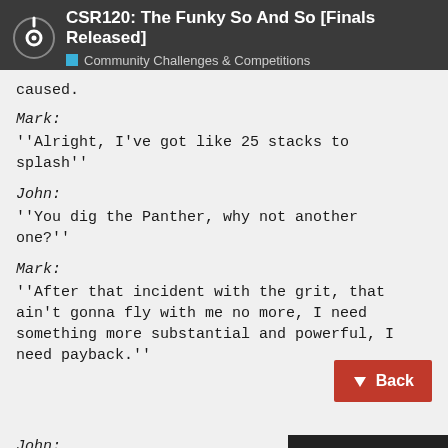CSR120: The Funky So And So [Finals Released] — Community Challenges & Competitions
caused.
Mark:
''Alright, I've got like 25 stacks to splash''
John:
''You dig the Panther, why not another one?''
Mark:
''After that incident with the grit, that ain't gonna fly with me no more, I need something more substantial and powerful, I need payback.''
John:
''Hold that thought, I know